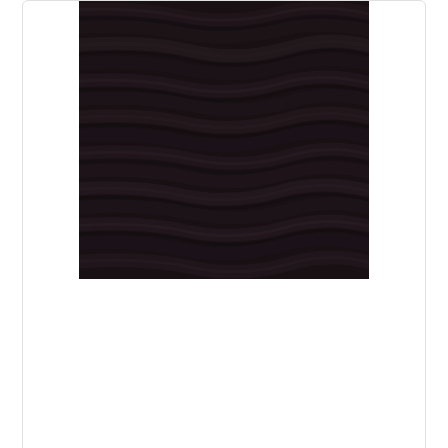[Figure (photo): Close-up photo of dark espresso/near-black twisted yarn texture - Berroco Quechua #1349 Espresso]
Berroco Quechua #1349 Espresso
$12.00
[Figure (photo): Close-up photo of dark brownish-red twisted yarn texture - partially visible product card for second yarn]